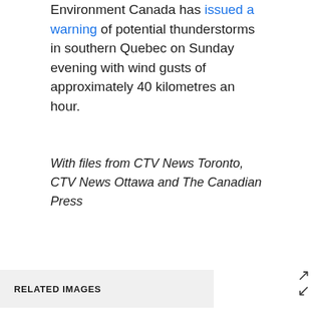Environment Canada has issued a warning of potential thunderstorms in southern Quebec on Sunday evening with wind gusts of approximately 40 kilometres an hour.
With files from CTV News Toronto, CTV News Ottawa and The Canadian Press
RELATED IMAGES
[Figure (photo): A yellow construction vehicle (skid steer loader) clearing a large fallen tree that has blocked a suburban street, with trees in background and a dark SUV partially visible on the right side.]